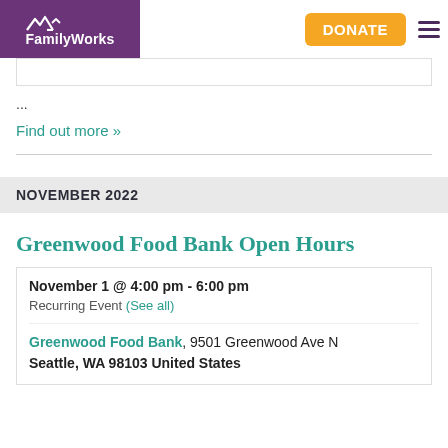[Figure (logo): FamilyWorks logo on purple background with mountain/house icon, plus orange DONATE button and hamburger menu]
...
Find out more »
NOVEMBER 2022
Greenwood Food Bank Open Hours
November 1 @ 4:00 pm - 6:00 pm
Recurring Event (See all)
Greenwood Food Bank, 9501 Greenwood Ave N Seattle, WA 98103 United States